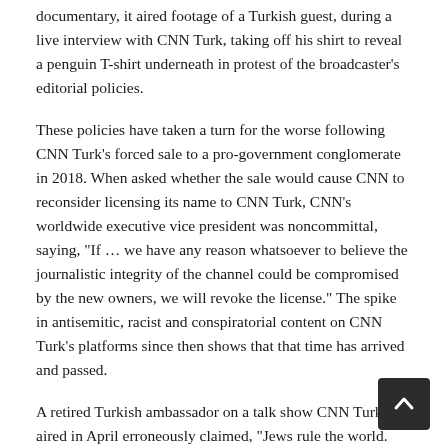documentary, it aired footage of a Turkish guest, during a live interview with CNN Turk, taking off his shirt to reveal a penguin T-shirt underneath in protest of the broadcaster's editorial policies.
These policies have taken a turn for the worse following CNN Turk's forced sale to a pro-government conglomerate in 2018. When asked whether the sale would cause CNN to reconsider licensing its name to CNN Turk, CNN's worldwide executive vice president was noncommittal, saying, "If … we have any reason whatsoever to believe the journalistic integrity of the channel could be compromised by the new owners, we will revoke the license." The spike in antisemitic, racist and conspiratorial content on CNN Turk's platforms since then shows that that time has arrived and passed.
A retired Turkish ambassador on a talk show CNN Turk aired in April erroneously claimed, "Jews rule the world. They control 27 percent of the U.S. economy." A senior adviser to Erdogan joined him with his incorrect, dangerous and antisemitic rants: "They also rule the military, politics, media and more importantly the movie industry." During this exchange, the CNN Turk anchor interven